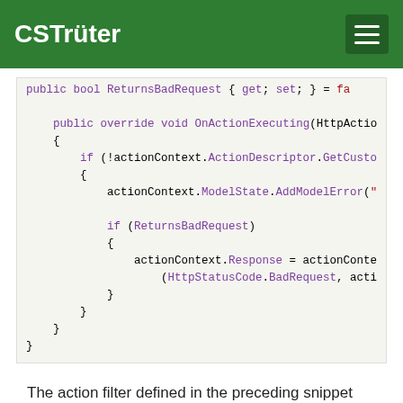CSTrüter
[Figure (screenshot): Code snippet showing C# class with public bool ReturnsBadRequest property and public override void OnActionExecuting(HttpActionContext) method containing model state validation and conditional bad request response logic.]
The action filter defined in the preceding snippet basically firstly checks for the presence of the NullableModelAttribute (as defined in the snippet below).